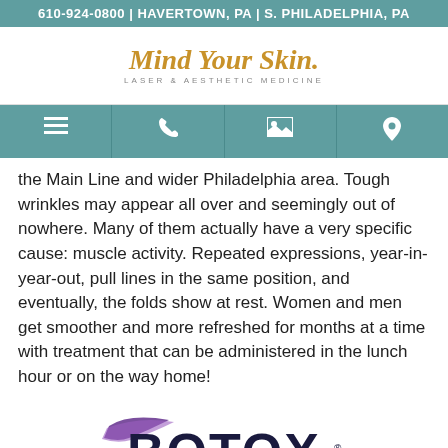610-924-0800 | HAVERTOWN, PA | S. PHILADELPHIA, PA
[Figure (logo): Mind Your Skin Laser & Aesthetic Medicine logo]
[Figure (infographic): Navigation bar with menu, phone, image gallery, and location icons]
the Main Line and wider Philadelphia area. Tough wrinkles may appear all over and seemingly out of nowhere. Many of them actually have a very specific cause: muscle activity. Repeated expressions, year-in-year-out, pull lines in the same position, and eventually, the folds show at rest. Women and men get smoother and more refreshed for months at a time with treatment that can be administered in the lunch hour or on the way home!
[Figure (logo): Botox Cosmetic logo with purple swoosh and dark navy text]